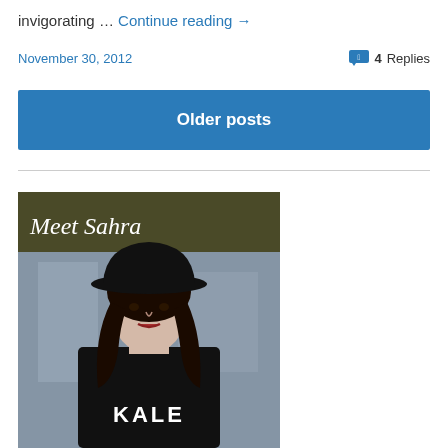invigorating … Continue reading →
November 30, 2012   4 Replies
Older posts
[Figure (photo): Photo of a young woman wearing a black wide-brim hat and a black KALE sweatshirt, with text 'Meet Sahra' overlaid at the top on an olive/dark background.]